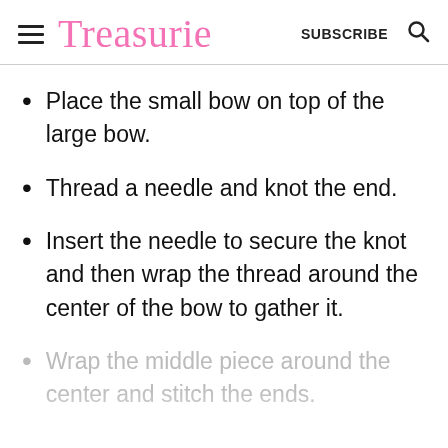Treasurie  SUBSCRIBE
Place the small bow on top of the large bow.
Thread a needle and knot the end.
Insert the needle to secure the knot and then wrap the thread around the center of the bow to gather it.
Wrap the middle piece around the center and stitch the ends.